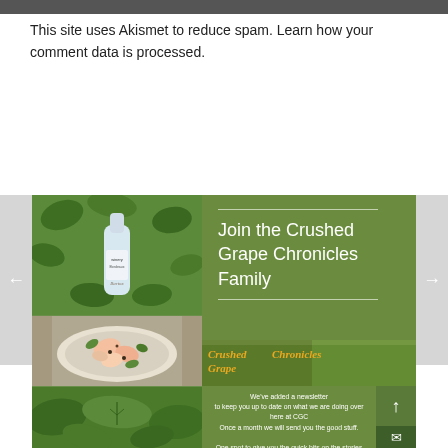This site uses Akismet to reduce spam. Learn how your comment data is processed.
[Figure (photo): Banner image with left photo collage (wine bottle, salad dish, leaves) and right green panel with 'Join the Crushed Grape Chronicles Family' text, Crushed Grape Chronicles logo, and newsletter description text. Navigation arrows on sides. Up arrow and mail icon buttons on right.]